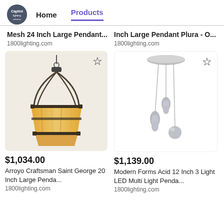Capitol Lighting — Home | Products
Mesh 24 Inch Large Pendant...
1800lighting.com
Inch Large Pendant Plura - O...
1800lighting.com
[Figure (photo): Arroyo Craftsman Saint George 20 Inch Large Pendant with amber stained glass shade and dark metal frame, hanging lamp product photo]
[Figure (photo): Modern Forms Acid 12 Inch 3 Light LED Multi Light Pendant with silver teardrop and sphere shaped pendants on thin cables from a round ceiling plate]
$1,034.00
Arroyo Craftsman Saint George 20 Inch Large Penda...
1800lighting.com
$1,139.00
Modern Forms Acid 12 Inch 3 Light LED Multi Light Penda...
1800lighting.com